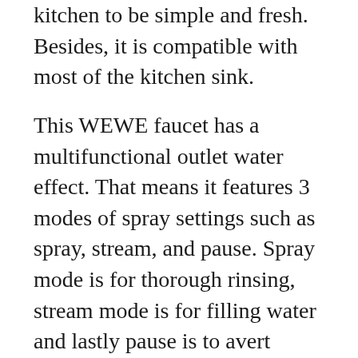kitchen to be simple and fresh. Besides, it is compatible with most of the kitchen sink.
This WEWE faucet has a multifunctional outlet water effect. That means it features 3 modes of spray settings such as spray, stream, and pause. Spray mode is for thorough rinsing, stream mode is for filling water and lastly pause is to avert splashing in the multitasking mode.
By the way, the faucet is pretty simple to operate. The single handle can regulate water temperature and flow volume. Plus, the high arc